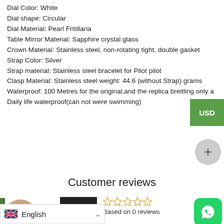Dial Color: White
Dial shape: Circular
Dial Material: Pearl Fritillaria
Table Mirror Material: Sapphire crystal glass
Crown Material: Stainless steel, non-rotating tight, double gasket
Strap Color: Silver
Strap material: Stainless steel bracelet for Pilot pilot
Clasp Material: Stainless steel weight: 44.6 (without Strap) grams
Waterproof: 100 Metres for the original,and the replica breitling only a Daily life waterproof(can not were swimming)
Customer reviews
0.00
Based on 0 reviews
English